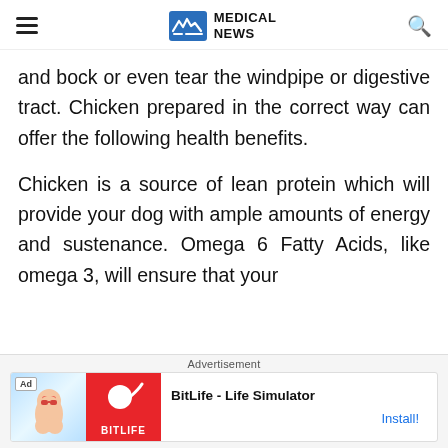MEDICAL NEWS
and bock or even tear the windpipe or digestive tract. Chicken prepared in the correct way can offer the following health benefits.
Chicken is a source of lean protein which will provide your dog with ample amounts of energy and sustenance. Omega 6 Fatty Acids, like omega 3, will ensure that your
[Figure (screenshot): BitLife - Life Simulator advertisement banner with game artwork and Install button]